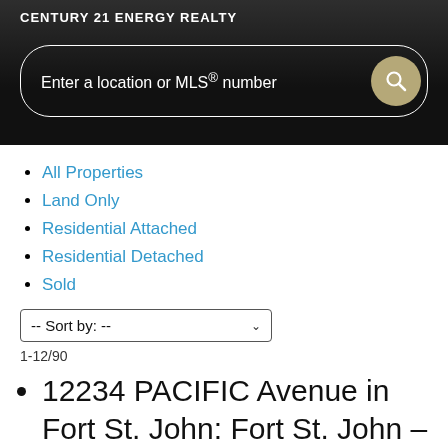CENTURY 21 ENERGY REALTY
[Figure (screenshot): Search bar with placeholder text 'Enter a location or MLS® number' and a tan/gold circular search button icon, on a dark background.]
All Properties
Land Only
Residential Attached
Residential Detached
Sold
-- Sort by: --
1-12/90
12234 PACIFIC Avenue in Fort St. John: Fort St. John - Rural W 100th House for sale (Fort St.